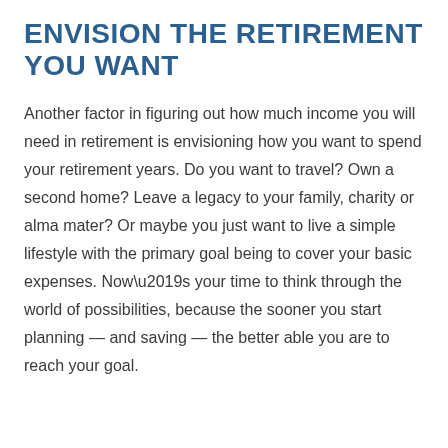ENVISION THE RETIREMENT YOU WANT
Another factor in figuring out how much income you will need in retirement is envisioning how you want to spend your retirement years. Do you want to travel? Own a second home? Leave a legacy to your family, charity or alma mater? Or maybe you just want to live a simple lifestyle with the primary goal being to cover your basic expenses. Now’s your time to think through the world of possibilities, because the sooner you start planning — and saving — the better able you are to reach your goal.